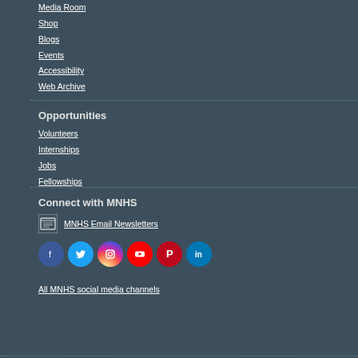Media Room
Shop
Blogs
Events
Accessibility
Web Archive
Opportunities
Volunteers
Internships
Jobs
Fellowships
Connect with MNHS
MNHS Email Newsletters
[Figure (other): Social media icons: Facebook, Twitter, Instagram, YouTube, Pinterest, LinkedIn]
All MNHS social media channels